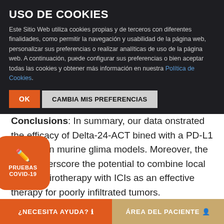USO DE COOKIES
Este Sitio Web utiliza cookies propias y de terceros con diferentes finalidades, como permitir la navegación y usabilidad de la página web, personalizar sus preferencias o realizar analíticas de uso de la página web. A continuación, puede configurar sus preferencias o bien aceptar todas las cookies y obtener más información en nuestra Política de Cookies.
OK  CAMBIA MIS PREFERENCIAS
...contextual immune memory, which allowed ...thus tumor rejection on rechallenge.
Conclusions: In summary, our data onstrated the efficacy of Delta-24-ACT bined with a PD-L1 inhibitor in murine glioma models. Moreover, the data underscore the potential to combine local immunovirotherapy with ICIs as an effective therapy for poorly infiltrated tumors.
[Figure (infographic): Orange rounded badge with pencil icon labeled PRUEBAS COVID-19]
¿NECESITA AYUDA?    ÁREA DEL PACIENTE